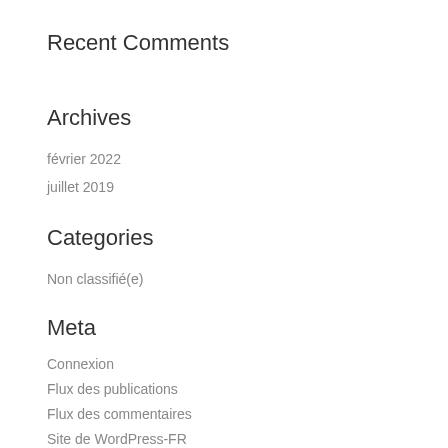Recent Comments
Archives
février 2022
juillet 2019
Categories
Non classifié(e)
Meta
Connexion
Flux des publications
Flux des commentaires
Site de WordPress-FR